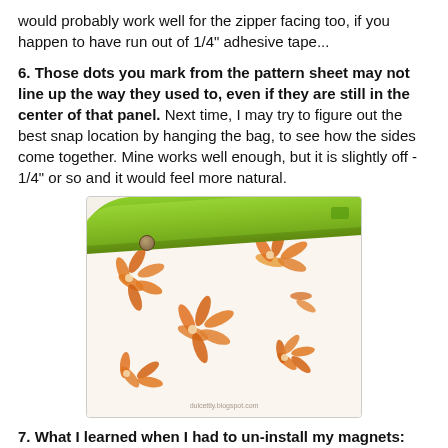would probably work well for the zipper facing too, if you happen to have run out of 1/4" adhesive tape...
6. Those dots you mark from the pattern sheet may not line up the way they used to, even if they are still in the center of that panel. Next time, I may try to figure out the best snap location by hanging the bag, to see how the sides come together. Mine works well enough, but it is slightly off - 1/4" or so and it would feel more natural.
[Figure (photo): Close-up photo of a fabric bag showing a green binding/handle at the top and orange floral patterned fabric interior, with a snap button visible on the binding.]
7. What I learned when I had to un-install my magnets: Make sure to buy them BEEFY, haha!
It was disappointing to pick the bag up by the handles, after